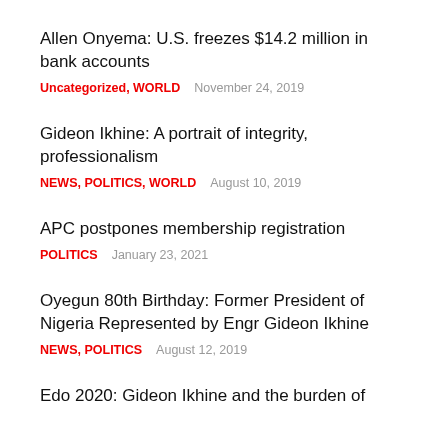Allen Onyema: U.S. freezes $14.2 million in bank accounts
Uncategorized, WORLD   November 24, 2019
Gideon Ikhine: A portrait of integrity, professionalism
NEWS, POLITICS, WORLD   August 10, 2019
APC postpones membership registration
POLITICS   January 23, 2021
Oyegun 80th Birthday: Former President of Nigeria Represented by Engr Gideon Ikhine
NEWS, POLITICS   August 12, 2019
Edo 2020: Gideon Ikhine and the burden of